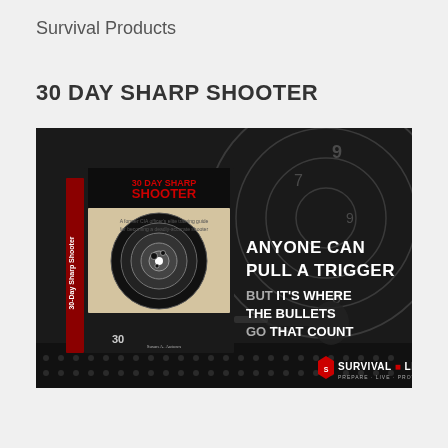Survival Products
30 DAY SHARP SHOOTER
[Figure (photo): Advertisement image for '30 Day Sharp Shooter' book by Survival Life. Dark background with shooting target rings. Book cover showing '30 DAY SHARP SHOOTER' in red text on black background with a target. Text overlay reads: 'ANYONE CAN PULL A TRIGGER BUT IT'S WHERE THE BULLETS GO THAT COUNT'. Survival Life logo in bottom right corner. Silhouette of person aiming a gun.]